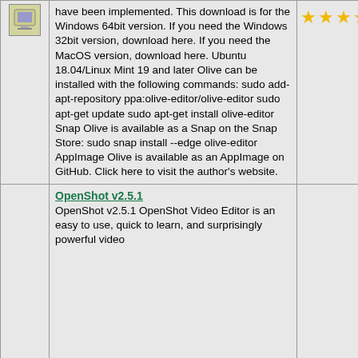| Icon | Description | Stars | Count | Thumbnail |
| --- | --- | --- | --- | --- |
| [icon] | have been implemented. This download is for the Windows 64bit version. If you need the Windows 32bit version, download here. If you need the MacOS version, download here. Ubuntu 18.04/Linux Mint 19 and later Olive can be installed with the following commands: sudo add-apt-repository ppa:olive-editor/olive-editor sudo apt-get update sudo apt-get install olive-editor Snap Olive is available as a Snap on the Snap Store: sudo snap install --edge olive-editor AppImage Olive is available as an AppImage on GitHub. Click here to visit the author's website. | ★★★★★ | 1,718 | [screenshot] |
|  | OpenShot v2.5.1
OpenShot v2.5.1 OpenShot Video Editor is an easy to use, quick to learn, and surprisingly powerful video |  |  |  |